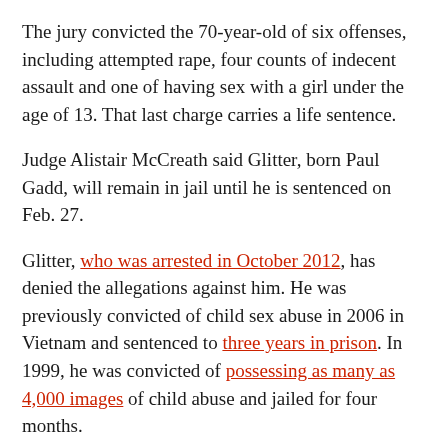The jury convicted the 70-year-old of six offenses, including attempted rape, four counts of indecent assault and one of having sex with a girl under the age of 13. That last charge carries a life sentence.
Judge Alistair McCreath said Glitter, born Paul Gadd, will remain in jail until he is sentenced on Feb. 27.
Glitter, who was arrested in October 2012, has denied the allegations against him. He was previously convicted of child sex abuse in 2006 in Vietnam and sentenced to three years in prison. In 1999, he was convicted of possessing as many as 4,000 images of child abuse and jailed for four months.
The Guardian reported that Glitter "raised his eyebrows and looked shocked when the verdicts were read out. He blew kisses to the public gallery,